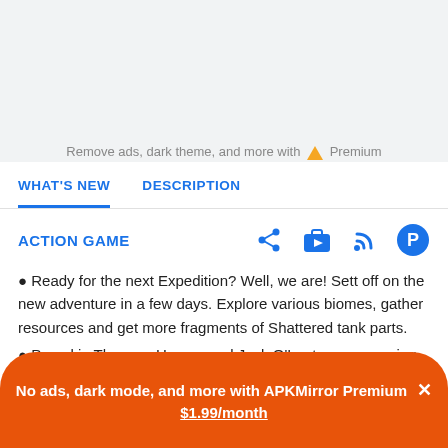Remove ads, dark theme, and more with ▲ Premium
WHAT'S NEW
DESCRIPTION
ACTION GAME
[Figure (screenshot): Four icon buttons: share, briefcase/play, RSS feed, pushover/speed dial]
Ready for the next Expedition? Well, we are! Sett off on the new adventure in a few days. Explore various biomes, gather resources and get more fragments of Shattered tank parts.
Pumpkin Thrower, Hearse and Jack O'Lantern are coming back! Soon you will have a chance to get this scary weapon set in the Grim Harvest event. We will announce the full detail in a little...
No ads, dark mode, and more with APKMirror Premium × $1.99/month